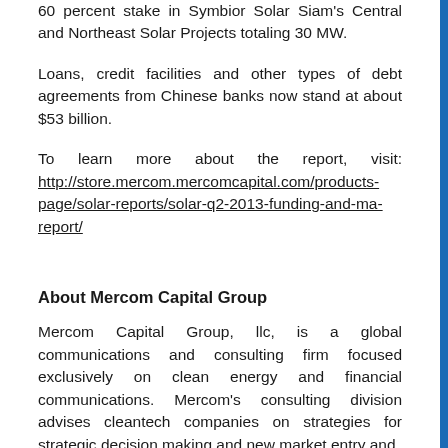60 percent stake in Symbior Solar Siam's Central and Northeast Solar Projects totaling 30 MW.
Loans, credit facilities and other types of debt agreements from Chinese banks now stand at about $53 billion.
To learn more about the report, visit: http://store.mercom.mercomcapital.com/products-page/solar-reports/solar-q2-2013-funding-and-ma-report/
About Mercom Capital Group
Mercom Capital Group, llc, is a global communications and consulting firm focused exclusively on clean energy and financial communications. Mercom's consulting division advises cleantech companies on strategies for strategic decision making and new market entry and